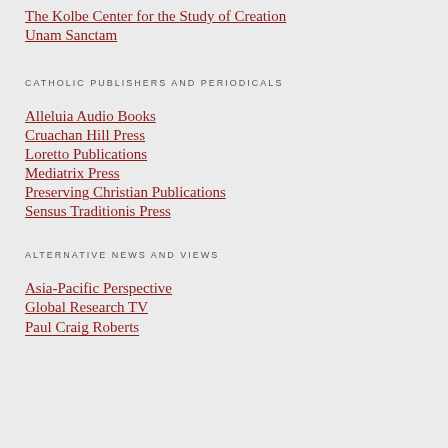The Kolbe Center for the Study of Creation
Unam Sanctam
CATHOLIC PUBLISHERS AND PERIODICALS
Alleluia Audio Books
Cruachan Hill Press
Loretto Publications
Mediatrix Press
Preserving Christian Publications
Sensus Traditionis Press
ALTERNATIVE NEWS AND VIEWS
Asia-Pacific Perspective
Global Research TV
Paul Craig Roberts